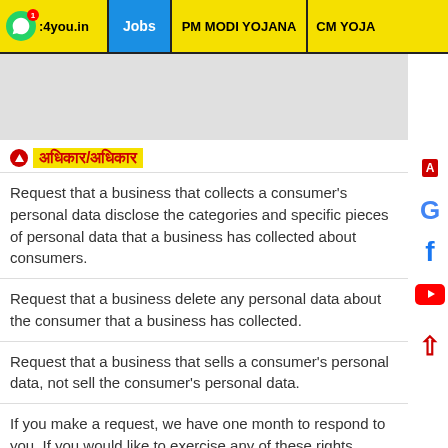:4you.in | Jobs | PM MODI YOJANA | CM YOGI YOJA
[Figure (screenshot): Gray advertisement banner area]
अधिकार/अधिकार
Request that a business that collects a consumer's personal data disclose the categories and specific pieces of personal data that a business has collected about consumers.
Request that a business delete any personal data about the consumer that a business has collected.
Request that a business that sells a consumer's personal data, not sell the consumer's personal data.
If you make a request, we have one month to respond to you. If you would like to exercise any of these rights, please contact us.
GDPR Data Protection Rights